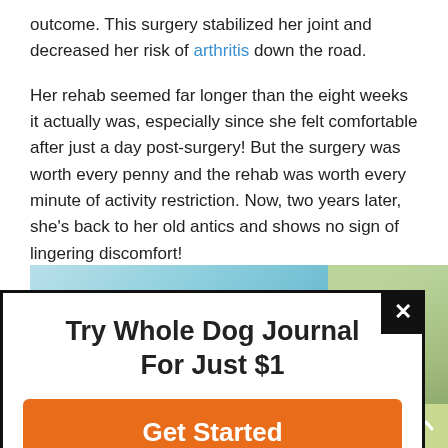outcome. This surgery stabilized her joint and decreased her risk of arthritis down the road.

Her rehab seemed far longer than the eight weeks it actually was, especially since she felt comfortable after just a day post-surgery! But the surgery was worth every penny and the rehab was worth every minute of activity restriction. Now, two years later, she's back to her old antics and shows no sign of lingering discomfort!
[Figure (photo): Partial view of a dog photo with light blue background, partially obscured by a popup modal overlay]
Try Whole Dog Journal For Just $1
Get Started